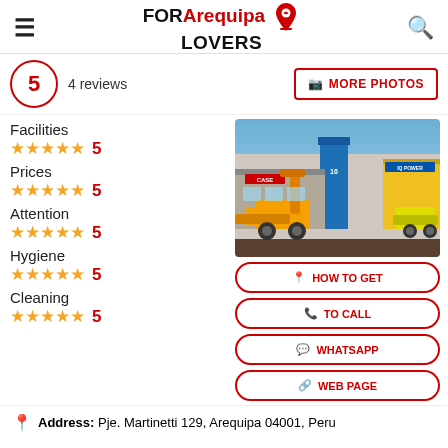FOR Arequipa LOVERS
5 · 4 reviews
MORE PHOTOS
[Figure (photo): Construction equipment dealership storefront at night with yellow machinery and illuminated blue/yellow signage (CASE, IQ POWER)]
Facilities ★★★★★ 5
Prices ★★★★★ 5
Attention ★★★★★ 5
Hygiene ★★★★★ 5
Cleaning ★★★★★ 5
HOW TO GET
TO CALL
WHATSAPP
WEB PAGE
Address: Pje. Martinetti 129, Arequipa 04001, Peru